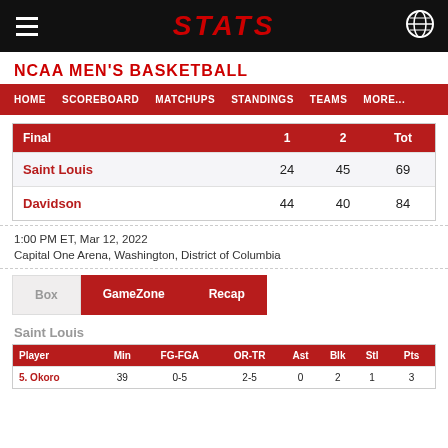STATS
NCAA MEN'S BASKETBALL
HOME   SCOREBOARD   MATCHUPS   STANDINGS   TEAMS   MORE...
| Final | 1 | 2 | Tot |
| --- | --- | --- | --- |
| Saint Louis | 24 | 45 | 69 |
| Davidson | 44 | 40 | 84 |
1:00 PM ET, Mar 12, 2022
Capital One Arena, Washington, District of Columbia
Box   GameZone   Recap
Saint Louis
| Player | Min | FG-FGA | OR-TR | Ast | Blk | Stl | Pts |
| --- | --- | --- | --- | --- | --- | --- | --- |
| 5. Okoro | 39 | 0-5 | 2-5 | 0 | 2 | 1 | 3 |